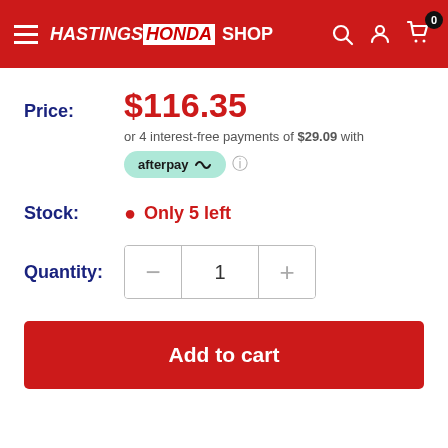HASTINGS HONDA SHOP — Navigation header with search, account, and cart (0)
Price: $116.35
or 4 interest-free payments of $29.09 with afterpay
Stock: Only 5 left
Quantity: 1
Add to cart